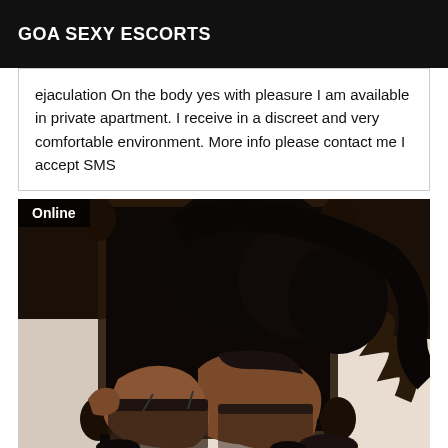GOA SEXY ESCORTS
ejaculation On the body yes with pleasure I am available in private apartment. I receive in a discreet and very comfortable environment. More info please contact me I accept SMS
[Figure (photo): A person posing in dark lingerie and stockings on a white surface, with an ornate dark mirror frame in the background. An 'Online' badge overlay is visible in the top-left corner.]